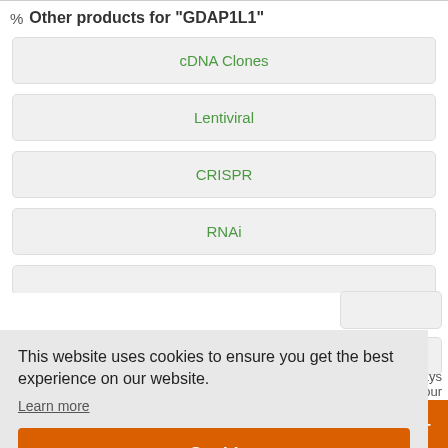Other products for "GDAP1L1"
cDNA Clones
Lentiviral
CRISPR
RNAi
This website uses cookies to ensure you get the best experience on our website.
Learn more
Got it!
Live Chat Online